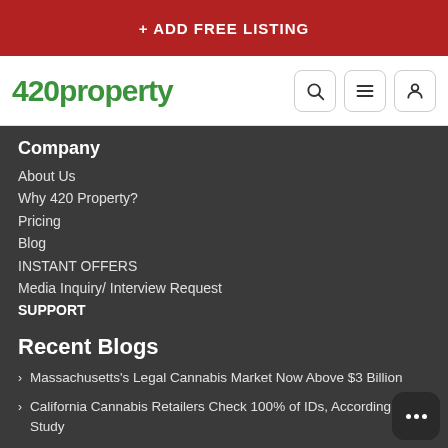+ ADD FREE LISTING
[Figure (logo): 420property logo with green text and navigation icons (search, menu, user)]
Company
About Us
Why 420 Property?
Pricing
Blog
INSTANT OFFERS
Media Inquiry/ Interview Request
SUPPORT
Recent Blogs
Massachusetts's Legal Cannabis Market Now Above $3 Billion
California Cannabis Retailers Check 100% of IDs, According to Study
New York Public Insurance Plans Might Need To Cover Medical Cannabis